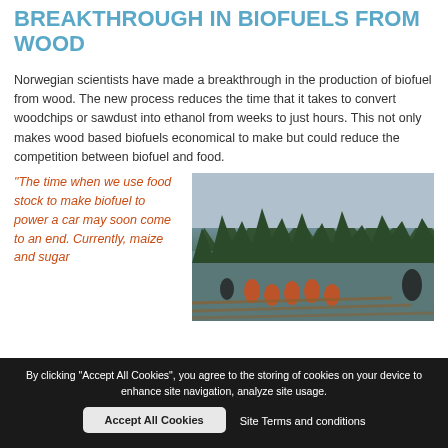BREAKTHROUGH IN BIOFUELS FROM WOOD
Norwegian scientists have made a breakthrough in the production of biofuel from wood. The new process reduces the time that it takes to convert woodchips or sawdust into ethanol from weeks to just hours. This not only makes wood based biofuels economical to make but could reduce the competition between biofuel and food.
“The time when we use food stock to make biofuel to power a car may soon come to an end. Currently, maize and sugar
[Figure (photo): Workers in orange safety vests and helmets working on logs in a river, with a dense forest of evergreen trees in the background under an overcast sky.]
By clicking “Accept All Cookies”, you agree to the storing of cookies on your device to enhance site navigation, analyze site usage.
Accept All Cookies
Site Terms and conditions